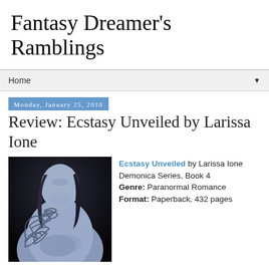Fantasy Dreamer's Ramblings
Home
Monday, January 25, 2010
Review: Ecstasy Unveiled by Larissa Ione
[Figure (photo): Black and white photo of a shirtless man with tribal tattoo on shoulder and chest, looking downward, dark background]
Ecstasy Unveiled by Larissa Ione Demonica Series, Book 4 Genre: Paranormal Romance Format: Paperback, 432 pages